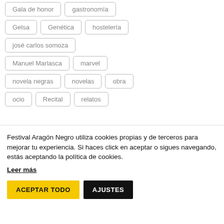Gala de honor
gastronomía
Gelsa
Genética
hostelería
josé carlos somoza
Manuel Marlasca
marvel
novela negras
novelas
obra
ocio
Recital
relatos
Festival Aragón Negro utiliza cookies propias y de terceros para mejorar tu experiencia. Si haces click en aceptar o sigues navegando, estás aceptando la política de cookies.
Leer más
ACEPTAR TODO
AJUSTES